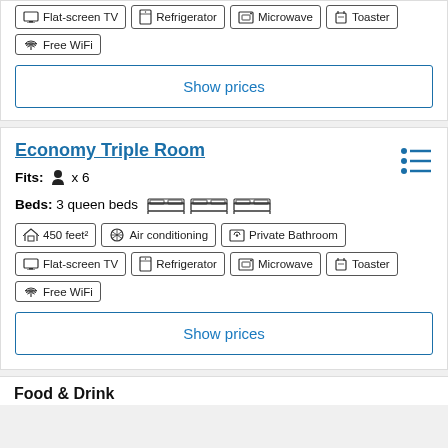Flat-screen TV
Refrigerator
Microwave
Toaster
Free WiFi
Show prices
Economy Triple Room
Fits: x 6
Beds: 3 queen beds
450 feet²
Air conditioning
Private Bathroom
Flat-screen TV
Refrigerator
Microwave
Toaster
Free WiFi
Show prices
Food & Drink